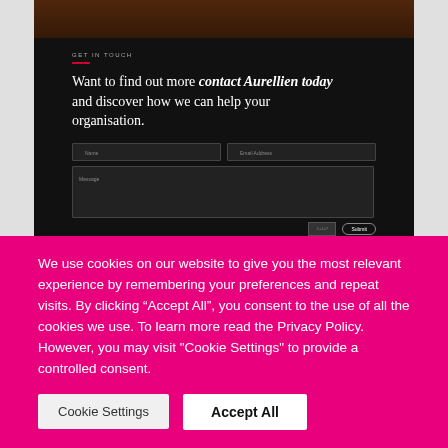[Figure (screenshot): Dark-themed website contact section with 'GET IN TOUCH' label, headline text 'Want to find out more contact Aurellien today and discover how we can help your organisation.', and a contact form with Name, Email Address, and Message fields plus a Submit button]
We use cookies on our website to give you the most relevant experience by remembering your preferences and repeat visits. By clicking “Accept All”, you consent to the use of all the cookies we use. To learn more read the Privacy Policy. However, you may visit "Cookie Settings" to provide a controlled consent.
Cookie Settings
Accept All